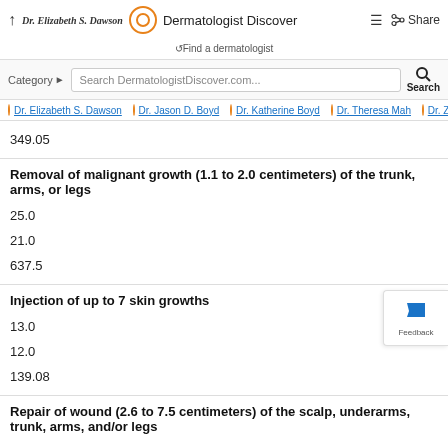Dr. Elizabeth S. Dawson | Dermatologist Discover | Find a dermatologist
Category | Search DermatologistDiscover.com... | Search
Dr. Elizabeth S. Dawson  Dr. Jason D. Boyd  Dr. Katherine Boyd  Dr. Theresa Mah  Dr. Z
349.05
Removal of malignant growth (1.1 to 2.0 centimeters) of the trunk, arms, or legs
25.0
21.0
637.5
Injection of up to 7 skin growths
13.0
12.0
139.08
Repair of wound (2.6 to 7.5 centimeters) of the scalp, underarms, trunk, arms, and/or legs
24.0